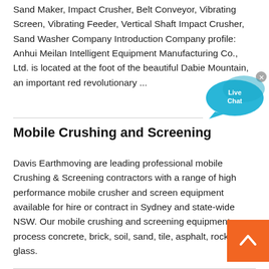Sand Maker, Impact Crusher, Belt Conveyor, Vibrating Screen, Vibrating Feeder, Vertical Shaft Impact Crusher, Sand Washer Company Introduction Company profile: Anhui Meilan Intelligent Equipment Manufacturing Co., Ltd. is located at the foot of the beautiful Dabie Mountain, an important red revolutionary ...
[Figure (other): Live Chat speech bubble widget in cyan/teal color with 'Live Chat' text and a close (x) button]
Mobile Crushing and Screening
Davis Earthmoving are leading professional mobile Crushing & Screening contractors with a range of high performance mobile crusher and screen equipment available for hire or contract in Sydney and state-wide NSW. Our mobile crushing and screening equipment can process concrete, brick, soil, sand, tile, asphalt, rock and glass.
[Figure (other): Orange square back-to-top button with a white upward chevron arrow]